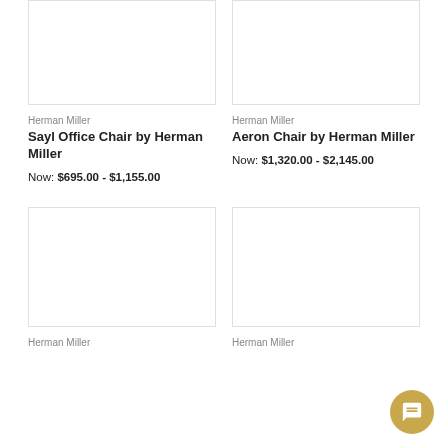[Figure (photo): Product image placeholder for Sayl Office Chair (top-left, white/blank box)]
Herman Miller
Sayl Office Chair by Herman Miller
Now: $695.00 - $1,155.00
[Figure (photo): Product image placeholder for Aeron Chair (top-right, white/blank box)]
Herman Miller
Aeron Chair by Herman Miller
Now: $1,320.00 - $2,145.00
[Figure (photo): Product image placeholder for bottom-left product (white/blank box)]
Herman Miller
[Figure (photo): Product image placeholder for bottom-right product (white/blank box)]
Herman Miller